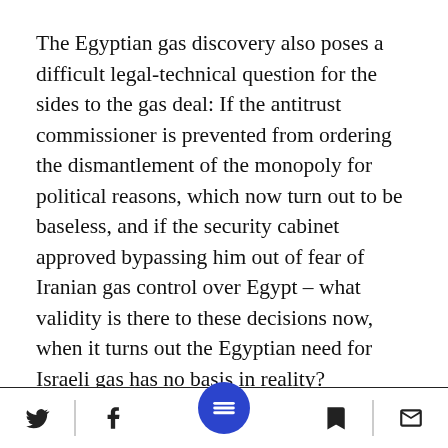The Egyptian gas discovery also poses a difficult legal-technical question for the sides to the gas deal: If the antitrust commissioner is prevented from ordering the dismantlement of the monopoly for political reasons, which now turn out to be baseless, and if the security cabinet approved bypassing him out of fear of Iranian gas control over Egypt – what validity is there to these decisions now, when it turns out the Egyptian need for Israeli gas has no basis in reality?
If the gas deal had been approved six months
[social icons: Twitter, Facebook, Menu, Bookmark, Mail]